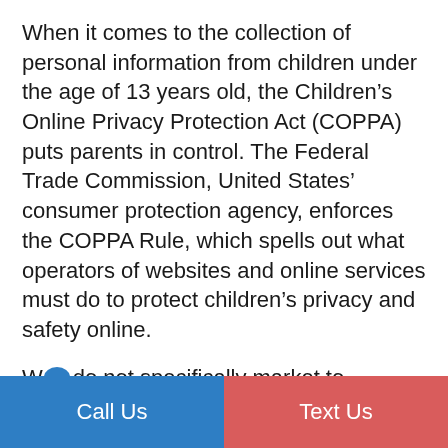When it comes to the collection of personal information from children under the age of 13 years old, the Children's Online Privacy Protection Act (COPPA) puts parents in control. The Federal Trade Commission, United States' consumer protection agency, enforces the COPPA Rule, which spells out what operators of websites and online services must do to protect children's privacy and safety online.
We do not specifically market to children
Call Us   Text Us